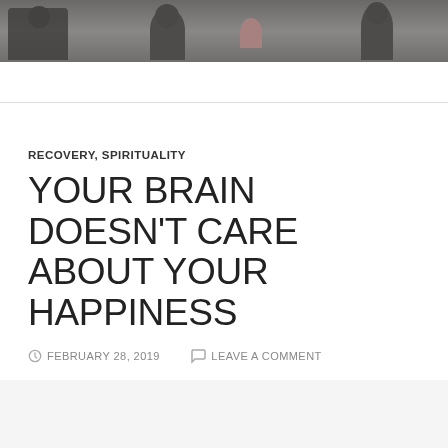[Figure (photo): A dark-toned photograph showing silhouettes of people in an outdoor or indoor setting with muted background tones]
RECOVERY, SPIRITUALITY
YOUR BRAIN DOESN’T CARE ABOUT YOUR HAPPINESS
FEBRUARY 28, 2019   LEAVE A COMMENT
[Figure (photo): Broken/missing image placeholder shown at bottom of article]